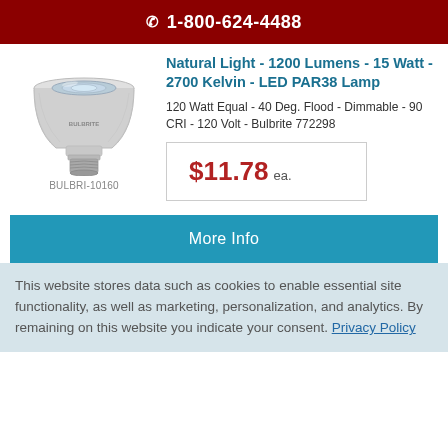📞 1-800-624-4488
[Figure (photo): LED PAR38 lamp bulb product photo, silver/grey metallic finish with Bulbrite branding]
BULBRI-10160
Natural Light - 1200 Lumens - 15 Watt - 2700 Kelvin - LED PAR38 Lamp
120 Watt Equal - 40 Deg. Flood - Dimmable - 90 CRI - 120 Volt - Bulbrite 772298
$11.78 ea.
More Info
This website stores data such as cookies to enable essential site functionality, as well as marketing, personalization, and analytics. By remaining on this website you indicate your consent. Privacy Policy